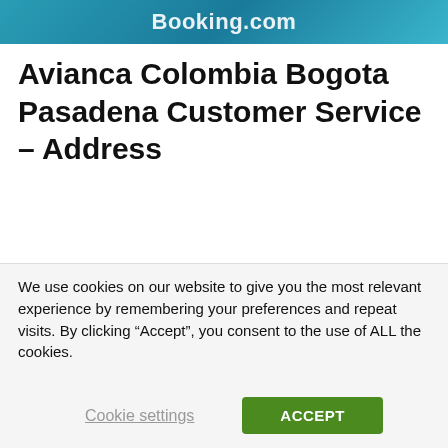[Figure (screenshot): Booking.com banner image with blue/teal gradient background and white Booking.com logo text]
Avianca Colombia Bogota Pasadena Customer Service – Address
Avianca Colombia Bogota Pasadena customer service address: Calle 100 # 50-38 local 1, Pasadena, Bogota, Colombia.
We use cookies on our website to give you the most relevant experience by remembering your preferences and repeat visits. By clicking “Accept”, you consent to the use of ALL the cookies.